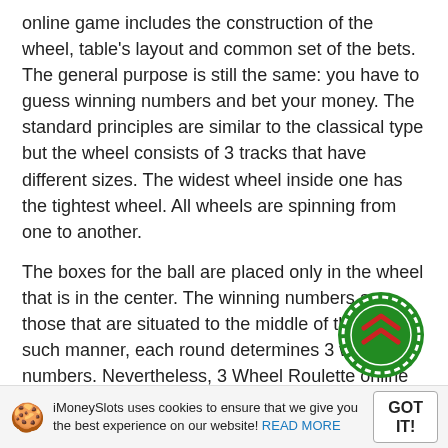online game includes the construction of the wheel, table's layout and common set of the bets. The general purpose is still the same: you have to guess winning numbers and bet your money. The standard principles are similar to the classical type but the wheel consists of 3 tracks that have different sizes. The widest wheel inside one has the tightest wheel. All wheels are spinning from one to another.
The boxes for the ball are placed only in the wheel that is in the center. The winning numbers are those that are situated to the middle of the ball. In such manner, each round determines 3 winning numbers. Nevertheless, 3 Wheel Roulette online is more similar to European Roulette for real money, but among advantages we can estimate additional Bonus rounds and unusual types of bets.
Players are able to have inside bets:
[Figure (illustration): Green casino chip with red double chevron/arrow symbol and white dashed border]
Straight Up for 1 number with payout 35:1
Split for both next numbers with payout 17:1
iMoneySlots uses cookies to ensure that we give you the best experience on our website! READ MORE  GOT IT!